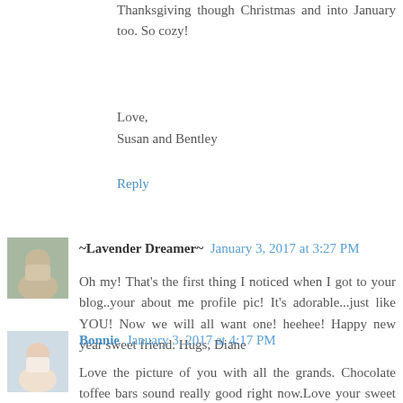Thanksgiving though Christmas and into January too. So cozy!
Love,
Susan and Bentley
Reply
~Lavender Dreamer~ January 3, 2017 at 3:27 PM
Oh my! That's the first thing I noticed when I got to your blog..your about me profile pic! It's adorable...just like YOU! Now we will all want one! heehee! Happy new year sweet friend. Hugs, Diane
Reply
Bonnie January 3, 2017 at 4:17 PM
Love the picture of you with all the grands. Chocolate toffee bars sound really good right now.Love your sweet Christmas traditions and the cozy season you enjoy.